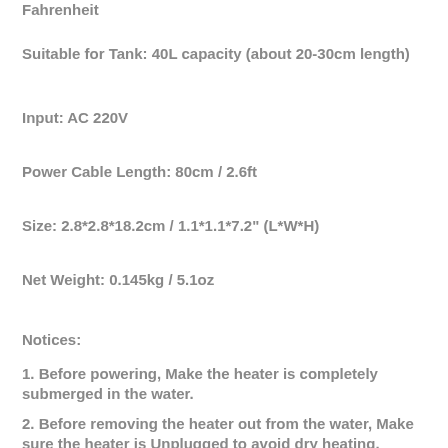Fahrenheit
Suitable for Tank: 40L capacity (about 20-30cm length)
Input: AC 220V
Power Cable Length: 80cm / 2.6ft
Size: 2.8*2.8*18.2cm / 1.1*1.1*7.2" (L*W*H)
Net Weight: 0.145kg / 5.1oz
Notices:
1. Before powering, Make the heater is completely submerged in the water.
2. Before removing the heater out from the water, Make sure the heater is Unplugged to avoid dry heating.